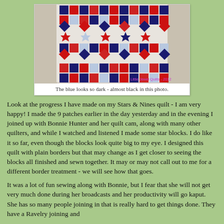[Figure (photo): A quilt in progress showing Stars and Nines pattern with red, navy blue, and light blue/white patches arranged in a geometric design, hung on a white background. Watermark reads 'Little Jewel Quilts - 2012'.]
The blue looks so dark - almost black in this photo.
Look at the progress I have made on my Stars & Nines quilt - I am very happy! I made the 9 patches earlier in the day yesterday and in the evening I joined up with Bonnie Hunter and her quilt cam, along with many other quilters, and while I watched and listened I made some star blocks. I do like it so far, even though the blocks look quite big to my eye. I designed this quilt with plain borders but that may change as I get closer to seeing the blocks all finished and sewn together. It may or may not call out to me for a different border treatment - we will see how that goes.
It was a lot of fun sewing along with Bonnie, but I fear that she will not get very much done during her broadcasts and her productivity will go kaput. She has so many people joining in that is really hard to get things done. They have a Ravelry joining and...